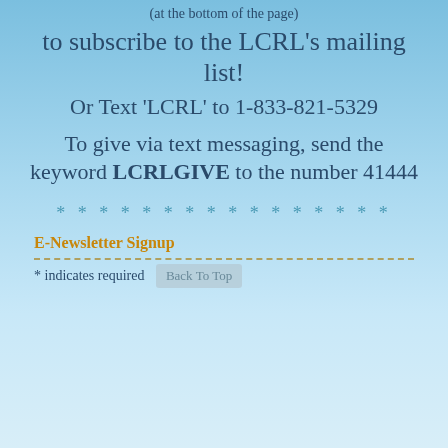(at the bottom of the page)
to subscribe to the LCRL's mailing list!
Or Text 'LCRL' to 1-833-821-5329
To give via text messaging, send the keyword LCRLGIVE to the number 41444
* * * * * * * * * * * * * * * *
E-Newsletter Signup
* indicates required